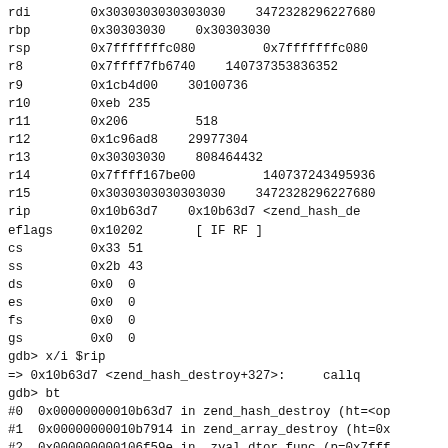rdi   0x3030303030303030   3472328296227680
rbp   0x30303030   0x30303030
rsp   0x7fffffffc080   0x7fffffffc080
r8    0x7ffff7fb6740   140737353836352
r9    0x1cb4d00   30100736
r10   0xeb 235
r11   0x206   518
r12   0x1c96ad8   29977304
r13   0x30303030   808464432
r14   0x7ffff167be00   140737243495936
r15   0x3030303030303030   3472328296227680
rip   0x10b63d7   0x10b63d7 <zend_hash_de
eflags   0x10202   [ IF RF ]
cs   0x33 51
ss   0x2b 43
ds   0x0   0
es   0x0   0
fs   0x0   0
gs   0x0   0
gdb> x/i $rip
=> 0x10b63d7 <zend_hash_destroy+327>:   callq
gdb> bt
#0  0x00000000010b63d7 in zend_hash_destroy (ht=<op
#1  0x00000000010b7914 in zend_array_destroy (ht=0x
#2  0x000000000106f59e in _zval_dtor_func (p=0x7fff